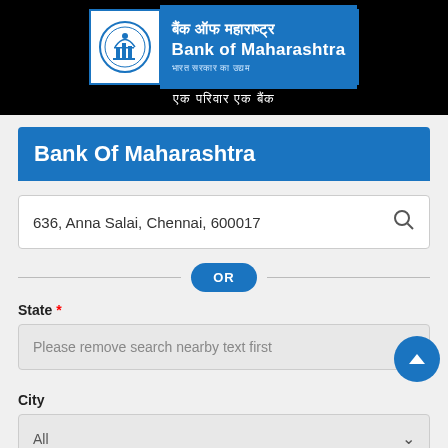[Figure (logo): Bank of Maharashtra logo with emblem, Hindi and English text, and tagline in white on black banner]
Bank Of Maharashtra
636, Anna Salai, Chennai, 600017
OR
State *
Please remove search nearby text first
City
All